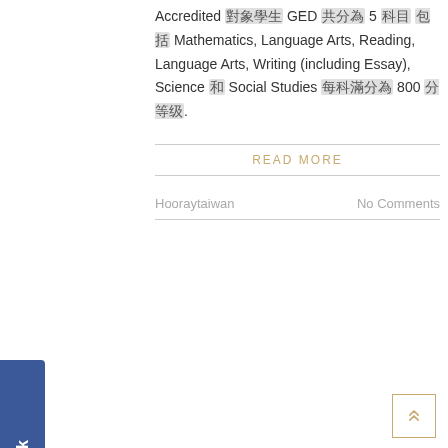Accredited [garbled] GED [garbled] 5 [garbled] [garbled] Mathematics, Language Arts, Reading, Language Arts, Writing (including Essay), Science [garbled] Social Studies [garbled] 800 [garbled] [garbled].
READ MORE
Hooraytaiwan
No Comments